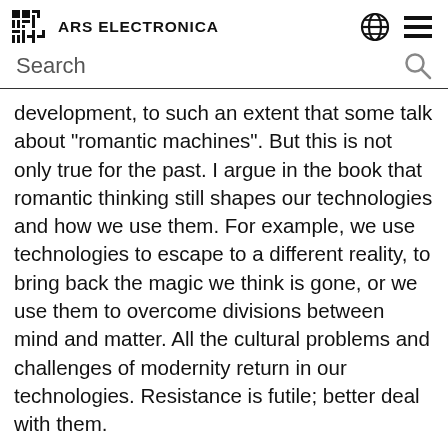ARS ELECTRONICA
Search
development, to such an extent that some talk about “romantic machines”. But this is not only true for the past. I argue in the book that romantic thinking still shapes our technologies and how we use them. For example, we use technologies to escape to a different reality, to bring back the magic we think is gone, or we use them to overcome divisions between mind and matter. All the cultural problems and challenges of modernity return in our technologies. Resistance is futile; better deal with them.
More generally, today we see that in the discussion about artificial intelligence a lot of questions of our time return. For example, a big social and political issue today concerns justice and inequality. There is